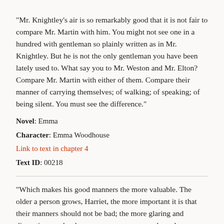"Mr. Knightley's air is so remarkably good that it is not fair to compare Mr. Martin with him. You might not see one in a hundred with gentleman so plainly written as in Mr. Knightley. But he is not the only gentleman you have been lately used to. What say you to Mr. Weston and Mr. Elton? Compare Mr. Martin with either of them. Compare their manner of carrying themselves; of walking; of speaking; of being silent. You must see the difference."
Novel: Emma
Character: Emma Woodhouse
Link to text in chapter 4
Text ID: 00218
"Which makes his good manners the more valuable. The older a person grows, Harriet, the more important it is that their manners should not be bad; the more glaring and disgusting any loudness, or coarseness, or awkwardness becomes. What is passable in youth is detestable in later age. Mr. Martin is now awkward and abrupt; what will he be at Mr. Weston's time of life?"